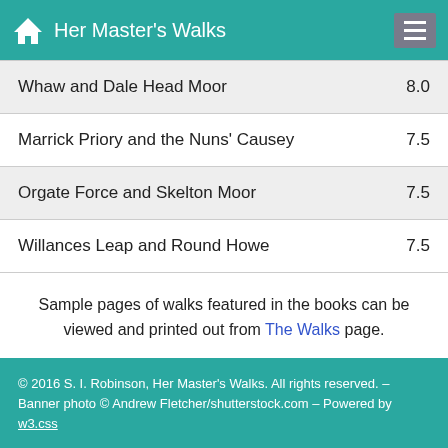Her Master's Walks
| Walk | Miles |
| --- | --- |
| Whaw and Dale Head Moor | 8.0 |
| Marrick Priory and the Nuns' Causey | 7.5 |
| Orgate Force and Skelton Moor | 7.5 |
| Willances Leap and Round Howe | 7.5 |
Sample pages of walks featured in the books can be viewed and printed out from The Walks page.
Contact | Site Map
© 2016 S. I. Robinson, Her Master's Walks. All rights reserved. – Banner photo © Andrew Fletcher/shutterstock.com – Powered by w3.css